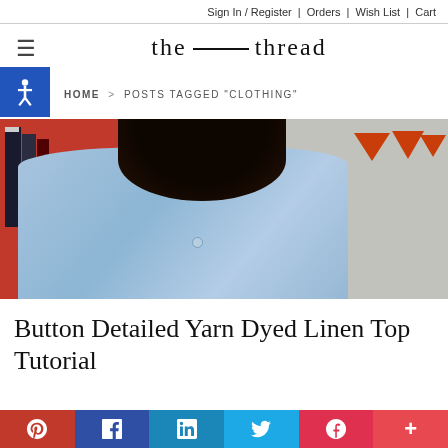Sign In / Register | Orders | Wish List | Cart
the ——— thread
[Figure (other): Breadcrumb navigation with accessibility icon. Shows HOME > POSTS TAGGED "CLOTHING"]
[Figure (photo): Back view of a person wearing a light blue linen shirt with a button detail at the back, dark hair, bookshelf with red shelving on left, orange triangle bunting on right.]
Button Detailed Yarn Dyed Linen Top Tutorial
[Figure (infographic): Social sharing bar with Pinterest, Facebook, LinkedIn, Twitter, Pocket, and more (+) buttons]